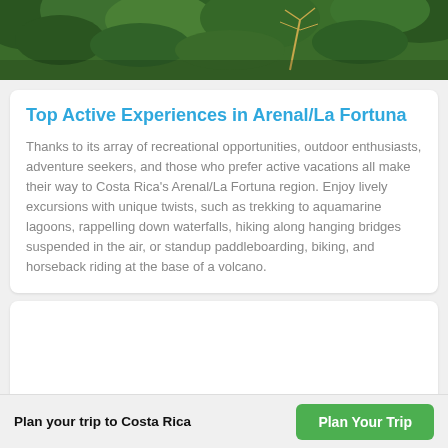[Figure (photo): Aerial or close-up view of dense tropical jungle/rainforest canopy with green foliage]
Top Active Experiences in Arenal/La Fortuna
Thanks to its array of recreational opportunities, outdoor enthusiasts, adventure seekers, and those who prefer active vacations all make their way to Costa Rica's Arenal/La Fortuna region. Enjoy lively excursions with unique twists, such as trekking to aquamarine lagoons, rappelling down waterfalls, hiking along hanging bridges suspended in the air, or standup paddleboarding, biking, and horseback riding at the base of a volcano.
[Figure (photo): Blank white card content area (image placeholder)]
Plan your trip to Costa Rica
Plan Your Trip